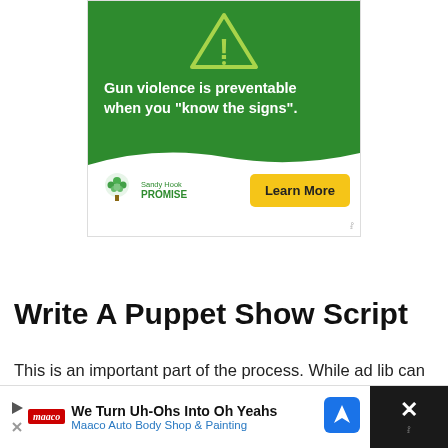[Figure (infographic): Sandy Hook Promise advertisement. Green background with warning triangle icon. Text: 'Gun violence is preventable when you "know the signs".' Sandy Hook Promise logo and 'Learn More' yellow button.]
Write A Puppet Show Script
This is an important part of the process. While ad lib can be fun it often devolves quickly! Writing a script will get your kids thinking and planning and they will have a great time creating their own story lines and coming up with fun things to say. Alternatively, they could also
[Figure (infographic): Maaco Auto Body Shop advertisement bar at bottom. Text: 'We Turn Uh-Ohs Into Oh Yeahs' and 'Maaco Auto Body Shop & Painting'. Blue navigation arrow icon and close X button on dark background.]